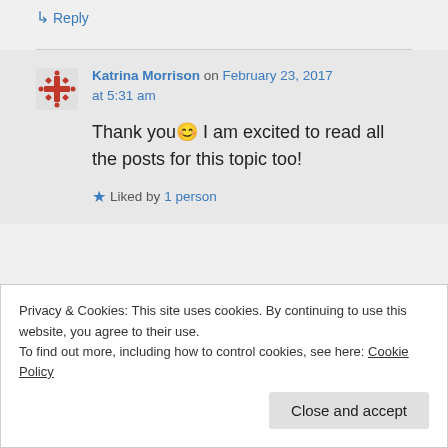↳ Reply
Katrina Morrison on February 23, 2017 at 5:31 am
Thank you 😊 I am excited to read all the posts for this topic too!
Liked by 1 person
Privacy & Cookies: This site uses cookies. By continuing to use this website, you agree to their use. To find out more, including how to control cookies, see here: Cookie Policy
Close and accept